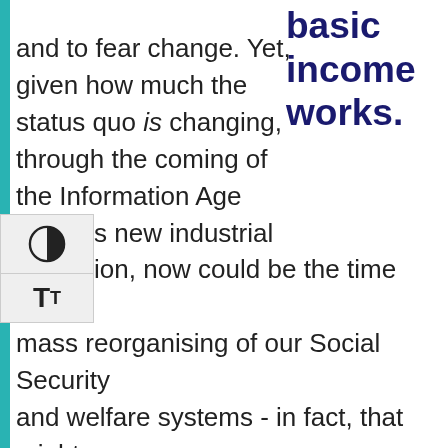basic income works.
and to fear change. Yet, given how much the status quo is changing, through the coming of the Information Age and this new industrial revolution, now could be the time for a mass reorganising of our Social Security and welfare systems - in fact, that might be absolutely vital. And, to Ben, it's no longer organisations like his, CBINS, that need to justify the benefit of changes such as the introduction of a basic income - it's on those in favour of the status quo to justify not adopting new models.